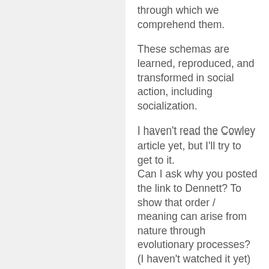through which we comprehend them.
These schemas are learned, reproduced, and transformed in social action, including socialization.
I haven't read the Cowley article yet, but I'll try to get to it.
Can I ask why you posted the link to Dennett? To show that order / meaning can arise from nature through evolutionary processes? (I haven't watched it yet)